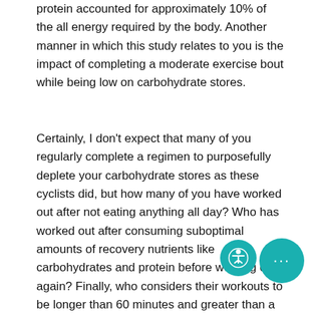protein accounted for approximately 10% of the all energy required by the body. Another manner in which this study relates to you is the impact of completing a moderate exercise bout while being low on carbohydrate stores.
Certainly, I don't expect that many of you regularly complete a regimen to purposefully deplete your carbohydrate stores as these cyclists did, but how many of you have worked out after not eating anything all day? Who has worked out after consuming suboptimal amounts of recovery nutrients like carbohydrates and protein before working out again? Finally, who considers their workouts to be longer than 60 minutes and greater than a moderate level of intensity? If you were saying yes to two or more of these questions, it's likely your carbohydrate stores are taking a hit and the mean our protein (muscle) stores are taking a hit as well.